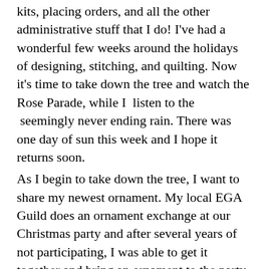kits, placing orders, and all the other administrative stuff that I do! I've had a wonderful few weeks around the holidays of designing, stitching, and quilting. Now it's time to take down the tree and watch the Rose Parade, while I  listen to the  seemingly never ending rain. There was one day of sun this week and I hope it returns soon.
As I begin to take down the tree, I want to share my newest ornament. My local EGA Guild does an ornament exchange at our Christmas party and after several years of not participating, I was able to get it together and bring an ornament to the party. I hoped and wished I'd get a certain someone's ornament as she always does some beading (and I don't!). I even tried to cheat and get her to tell me which was hers and she wouldn't! Imagine my surprise when I opened my package to find this beauty! This certain someone didn't make it though… it came from someone else and I